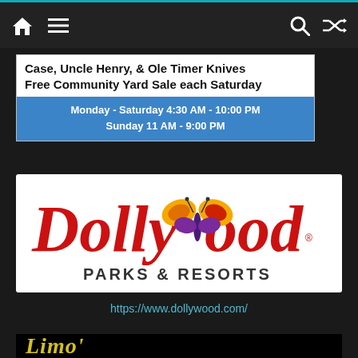Navigation bar with home, menu, search, and shuffle icons
[Figure (infographic): Advertisement banner: 'Case, Uncle Henry, & Ole Timer Knives / Free Community Yard Sale each Saturday' with hours: Monday - Saturday 4:30 AM - 10:00 PM / Sunday 11 AM - 9:00 PM]
[Figure (logo): Dollywood Parks & Resorts logo with butterfly and red cursive script text]
https://www.dollywood.com/
[Figure (logo): Partial logo in yellow cursive script on black background, beginning with 'Limo' or similar]